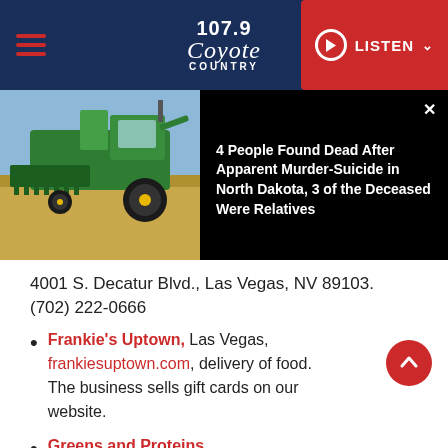107.9 Coyote Country — LISTEN
[Figure (screenshot): News article thumbnail showing a green combine harvester in a field with headline: 4 People Found Dead After Apparent Murder-Suicide in North Dakota, 3 of the Deceased Were Relatives]
4001 S. Decatur Blvd., Las Vegas, NV 89103. (702) 222-0666
Frankie's Uptown, Las Vegas, frankiesuptown.com, delivery of food. The business sells gift cards on our website.
Greens and Proteins
Questions please